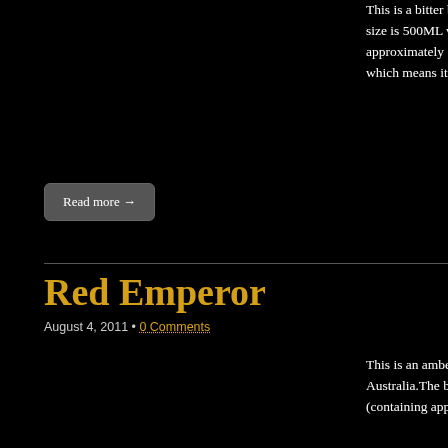This is a bitter brewed by Shepherd Neame in Kent, England.The bottle size is 500ML with an alcohol content of 4.50% (containing approximately 1.80 AU / 2.20 UK standard drinks). My Rating is 6.00/10 which means it's a good solid…
Read more →
Red Emperor
August 4, 2011 • 0 Comments
This is an amber ale brewed by Fish Rock in Bowral, N.S.W., Australia.The bottle size is 330ML with an alcohol content of 4.50% (containing approximately 1.30 AU / 1.50 UK…